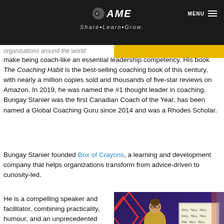AME — Share·Learn·Grow — MENU
organisations around the world make being coach-like an essential leadership competency. His book The Coaching Habit is the best-selling coaching book of this century, with nearly a million copies sold and thousands of five-star reviews on Amazon. In 2019, he was named the #1 thought leader in coaching. Bungay Stanier was the first Canadian Coach of the Year, has been named a Global Coaching Guru since 2014 and was a Rhodes Scholar.
Bungay Stanier founded Box of Crayons, a learning and development company that helps organizations transform from advice-driven to curiosity-led.
He is a compelling speaker and facilitator, combining practicality, humour, and an unprecedented degree of engagement with the
[Figure (photo): Photo of Bungay Stanier speaking on stage in front of a whiteboard showing words like TELL, ASK, YOU. Background has red diamond geometric shapes on a dark purple stage.]